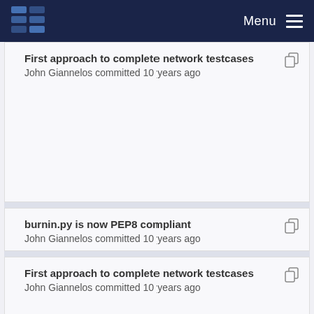Menu
First approach to complete network testcases
John Giannelos committed 10 years ago
burnin.py is now PEP8 compliant
John Giannelos committed 10 years ago
First approach to complete network testcases
John Giannelos committed 10 years ago